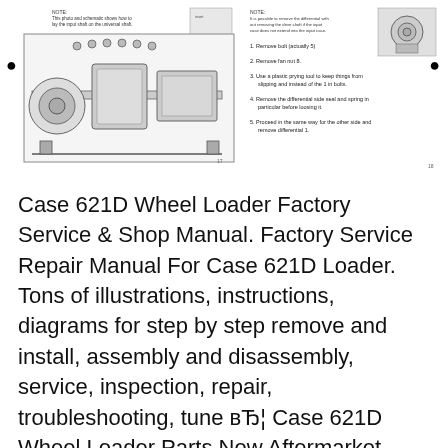[Figure (engineering-diagram): Technical schematic of a wheel loader drivetrain/axle assembly showing cross-section with labeled components, with a small inset image in top right corner and a note at top left.]
[Figure (engineering-diagram): Right panel showing a mechanical component diagram of what appears to be a differential or axle part, with numbered step instructions and a small photo of the component.]
Case 621D Wheel Loader Factory Service & Shop Manual. Factory Service Repair Manual For Case 621D Loader. Tons of illustrations, instructions, diagrams for step by step remove and install, assembly and disassembly, service, inspection, repair, troubleshooting, tune вЂ¦ Case 621D Wheel Loader Parts New Aftermarket, Used and Rebuilt 621D Parts. Looking for Case 621D Wheel Loader parts? You've come to the right place. We sell a wide range of new aftermarket, used